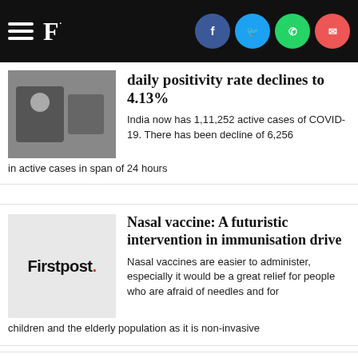Firstpost - F.
[Figure (screenshot): Firstpost news website header with hamburger menu, F. logo, and social sharing icons for Facebook, Twitter, WhatsApp, and Email]
daily positivity rate declines to 4.13%
India now has 1,11,252 active cases of COVID-19. There has been decline of 6,256 in active cases in span of 24 hours
[Figure (logo): Firstpost logo placeholder image]
Nasal vaccine: A futuristic intervention in immunisation drive
Nasal vaccines are easier to administer, especially it would be a great relief for people who are afraid of needles and for children and the elderly population as it is non-invasive
[Figure (logo): Firstpost logo placeholder image]
States asked to hold vaccination camps for booster dose at stations, religious sites
The precaution dose coverage among the 64,89,99,721 eligible population was eight per cent till 14 July